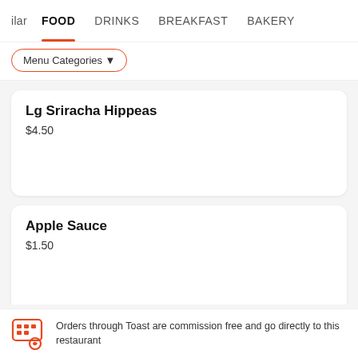lar  FOOD  DRINKS  BREAKFAST  BAKERY
Menu Categories ▼
Lg Sriracha Hippeas
$4.50
Apple Sauce
$1.50
Orders through Toast are commission free and go directly to this restaurant